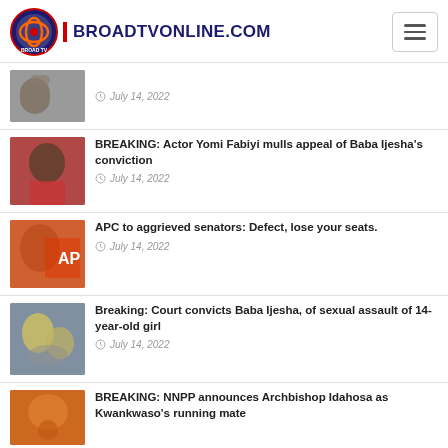BROADTVONLINE.COM
July 14, 2022
BREAKING: Actor Yomi Fabiyi mulls appeal of Baba Ijesha's conviction
July 14, 2022
APC to aggrieved senators: Defect, lose your seats.
July 14, 2022
Breaking: Court convicts Baba Ijesha, of sexual assault of 14-year-old girl
July 14, 2022
BREAKING: NNPP announces Archbishop Idahosa as Kwankwaso's running mate